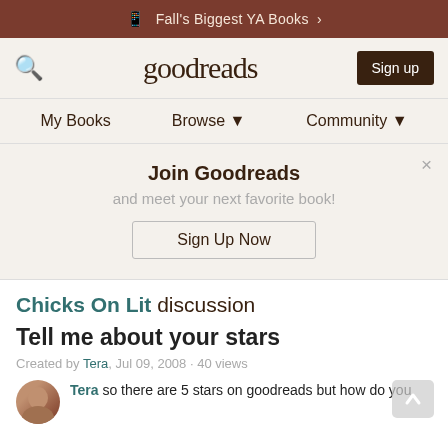Fall's Biggest YA Books >
[Figure (screenshot): Goodreads navigation bar with search icon, logo, and Sign up button]
My Books   Browse ▼   Community ▼
Join Goodreads and meet your next favorite book! Sign Up Now
Chicks On Lit discussion
Tell me about your stars
Created by Tera, Jul 09, 2008 · 40 views
Tera so there are 5 stars on goodreads but how do you